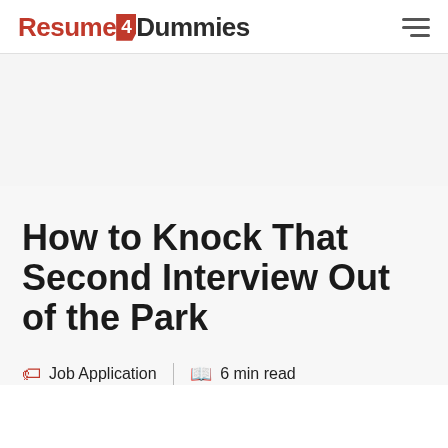Resume4Dummies
How to Knock That Second Interview Out of the Park
Job Application  |  6 min read